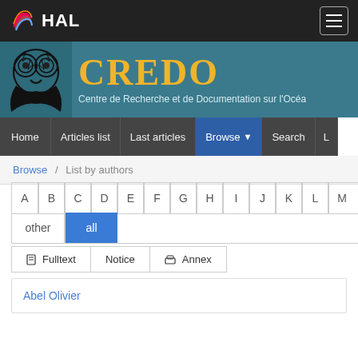HAL
[Figure (logo): CREDO - Centre de Recherche et de Documentation sur l'Océa...]
Home | Articles list | Last articles | Browse | Search | L
Browse / List by authors
A B C D E F G H I J K L M ... other all
Fulltext | Notice | Annex
Abel Olivier